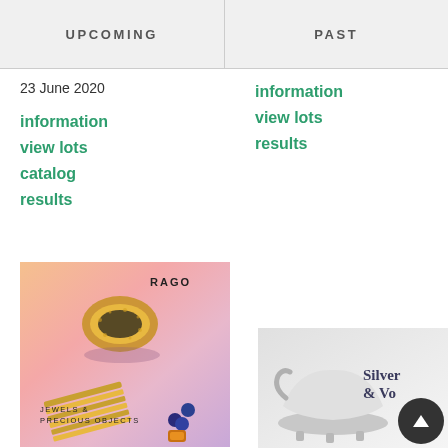UPCOMING | PAST
23 June 2020
information
view lots
catalog
results
information
view lots
results
[Figure (photo): Rago auction catalog cover for Jewels & Precious Objects featuring gold textured ring, gold bar bracelet, and blue stone ring on pink/peach gradient background with RAGO logo]
JEWELS & PRECIOUS OBJECTS
[Figure (photo): Silver & Vo... auction catalog showing a silver decorative bowl/dish on white/grey background with elegant text]